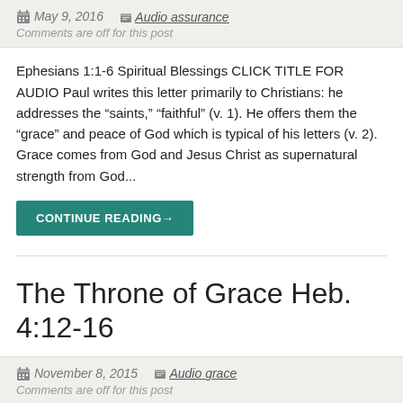May 9, 2016  Audio assurance
Comments are off for this post
Ephesians 1:1-6 Spiritual Blessings CLICK TITLE FOR AUDIO Paul writes this letter primarily to Christians: he addresses the “saints,” “faithful” (v. 1). He offers them the “grace” and peace of God which is typical of his letters (v. 2).  Grace comes from God and Jesus Christ as supernatural strength from God...
CONTINUE READING→
The Throne of Grace Heb. 4:12-16
November 8, 2015  Audio grace
Comments are off for this post
The Throne of Grace Heb. 4:12-16 CLICK TITLE FOR AUDIO We read about the throne of grace in the context of the discerning word of